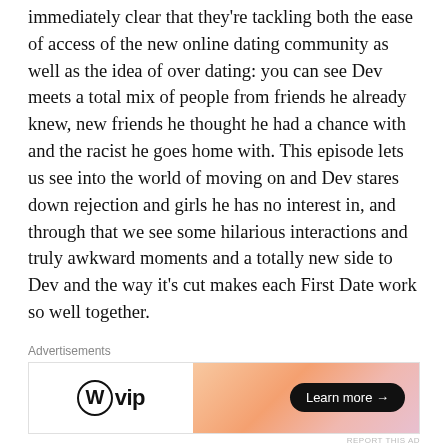immediately clear that they're tackling both the ease of access of the new online dating community as well as the idea of over dating: you can see Dev meets a total mix of people from friends he already knew, new friends he thought he had a chance with and the racist he goes home with. This episode lets us see into the world of moving on and Dev stares down rejection and girls he has no interest in, and through that we see some hilarious interactions and truly awkward moments and a totally new side to Dev and the way it's cut makes each First Date work so well together.
[Figure (other): WordPress VIP advertisement banner with orange/pink gradient background and 'Learn more →' button]
We start to see a bit of a shift in the direction of the series when Dev's lovely Italian friend comes